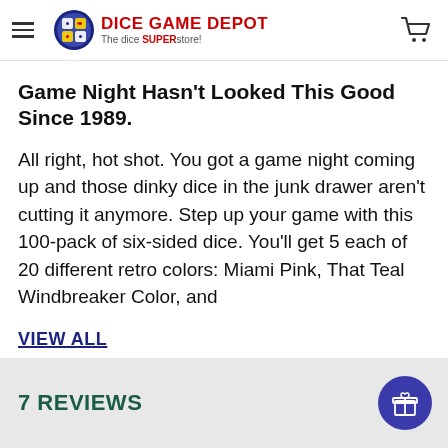DICE GAME DEPOT The dice SUPERstore!
Game Night Hasn't Looked This Good Since 1989.
All right, hot shot. You got a game night coming up and those dinky dice in the junk drawer aren't cutting it anymore. Step up your game with this 100-pack of six-sided dice. You'll get 5 each of 20 different retro colors: Miami Pink, That Teal Windbreaker Color, and
VIEW ALL
7 REVIEWS